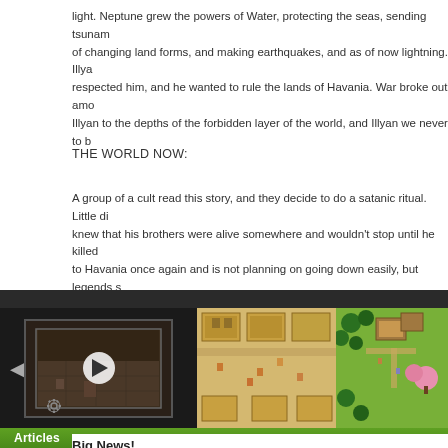light. Neptune grew the powers of Water, protecting the seas, sending tsunam of changing land forms, and making earthquakes, and as of now lightning. Illya respected him, and he wanted to rule the lands of Havania. War broke out amo Illyan to the depths of the forbidden layer of the world, and Illyan we never to b
THE WORLD NOW:
A group of a cult read this story, and they decide to do a satanic ritual. Little di knew that his brothers were alive somewhere and wouldn't stop until he killed to Havania once again and is not planning on going down easily, but legends s from a small island west of Havania will one day rise up and protect the Land o
[Figure (screenshot): Media row with a video player thumbnail showing a dark RPG dungeon scene with play button and left navigation arrow, flanked by two game screenshots: a top-down RPG town scene with yellow/sandy buildings, and a green outdoor map with trees and structures.]
Articles
Big News!